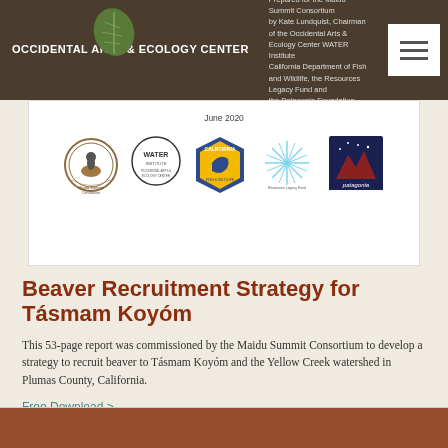Occidental Arts & Ecology Center — Prepared for the Maidu Summit Consortium — by the WATER Institute — California Department of Fish and Wildlife, the Resources Legacy Fund and the Patagonia Foundation — June 2020
[Figure (logo): Row of five logos: Maidu Summit Consortium, WATER Institute (Occidental Arts & Ecology Center), California Fish and Wildlife, Resources Legacy Fund, Patagonia]
Beaver Recruitment Strategy for Tásmam Koyóm
This 53-page report was commissioned by the Maidu Summit Consortium to develop a strategy to recruit beaver to Tásmam Koyóm and the Yellow Creek watershed in Plumas County, California.
Free Download >